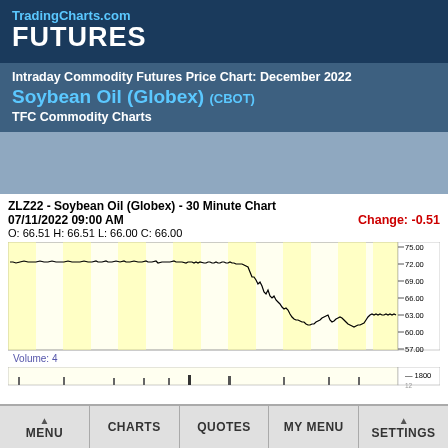TradingCharts.com FUTURES
Intraday Commodity Futures Price Chart: December 2022 Soybean Oil (Globex) (CBOT) TFC Commodity Charts
[Figure (continuous-plot): ZLZ22 - Soybean Oil (Globex) - 30 Minute Chart. Date: 07/11/2022 09:00 AM. O: 66.51 H: 66.51 L: 66.00 C: 66.00. Change: -0.51. Price range approx 57-75. Chart shows price declining from ~71-72 range to ~60-61 range. Volume: 4. Y-axis labels: 75.00, 72.00, 69.00, 66.00, 63.00, 60.00, 57.00]
MENU  CHARTS  QUOTES  MY MENU  SETTINGS